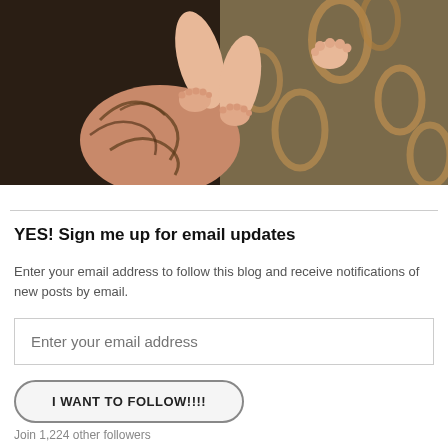[Figure (photo): A tattooed arm holding a newborn baby, with a decorative paisley fabric in the background.]
YES! Sign me up for email updates
Enter your email address to follow this blog and receive notifications of new posts by email.
Enter your email address
I WANT TO FOLLOW!!!!
Join 1,224 other followers